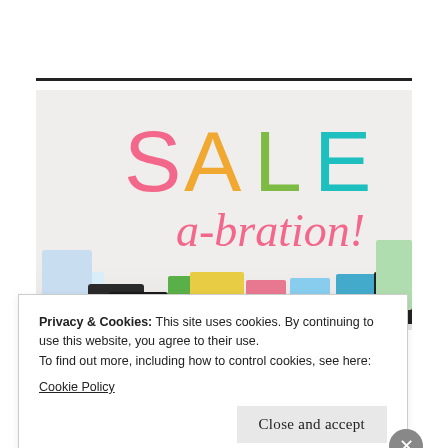[Figure (photo): Sale-a-bration promotional banner image showing colorful SALE letters (S in pink, A in orange, L in green, E in teal) and cursive 'a-bration!' in pink, with craft supplies scattered at the bottom on a light beige background.]
Privacy & Cookies: This site uses cookies. By continuing to use this website, you agree to their use.
To find out more, including how to control cookies, see here:
Cookie Policy
Close and accept